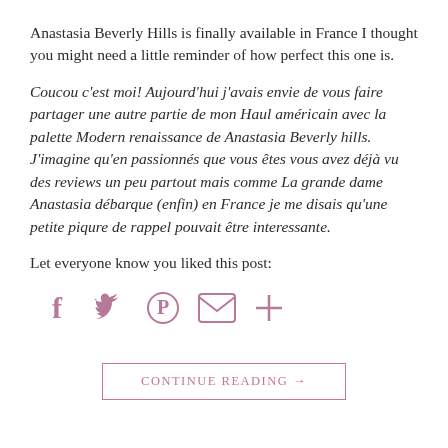Anastasia Beverly Hills is finally available in France I thought you might need a little reminder of how perfect this one is.
Coucou c'est moi! Aujourd'hui j'avais envie de vous faire partager une autre partie de mon Haul américain avec la palette Modern renaissance de Anastasia Beverly hills. J'imagine qu'en passionnés que vous êtes vous avez déjà vu des reviews un peu partout mais comme La grande dame Anastasia débarque (enfin) en France je me disais qu'une petite piqure de rappel pouvait être interessante.
Let everyone know you liked this post:
[Figure (infographic): Social sharing icons: Facebook (f), Twitter (bird), Pinterest (P), Email (envelope), Share (+), rendered in muted pink/mauve color]
CONTINUE READING →